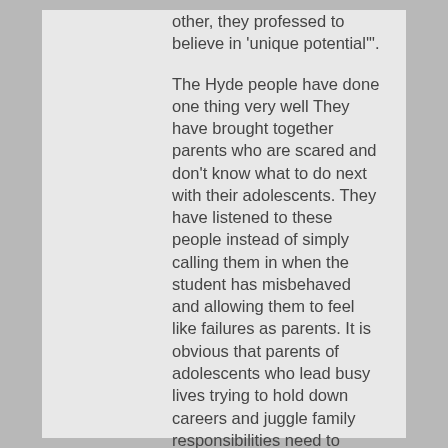other, they professed to believe in 'unique potential'
The Hyde people have done one thing very well They have brought together parents who are scared and don't know what to do next with their adolescents. They have listened to these people instead of simply calling them in when the student has misbehaved and allowing them to feel like failures as parents. It is obvious that parents of adolescents who lead busy lives trying to hold down careers and juggle family responsibilities need to come together and talk. But the Hyde Program says. Trust us with your kids. If you are good parents, you will buy this whole program